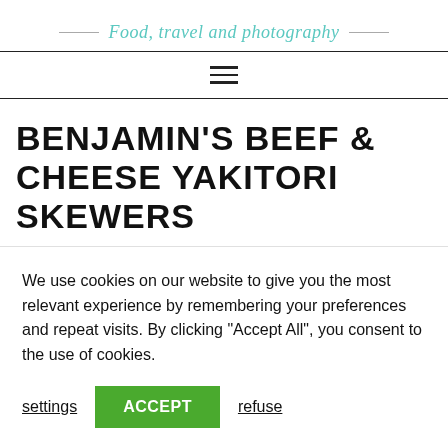Food, travel and photography
BENJAMIN'S BEEF & CHEESE YAKITORI SKEWERS
We use cookies on our website to give you the most relevant experience by remembering your preferences and repeat visits. By clicking "Accept All", you consent to the use of cookies.
settings
ACCEPT
refuse